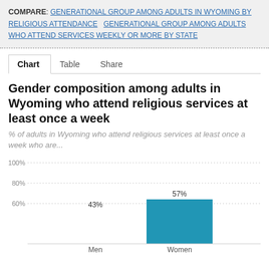COMPARE: GENERATIONAL GROUP AMONG ADULTS IN WYOMING BY RELIGIOUS ATTENDANCE  GENERATIONAL GROUP AMONG ADULTS WHO ATTEND SERVICES WEEKLY OR MORE BY STATE
Chart  Table  Share
Gender composition among adults in Wyoming who attend religious services at least once a week
% of adults in Wyoming who attend religious services at least once a week who are...
[Figure (bar-chart): Gender composition among adults in Wyoming who attend religious services at least once a week]